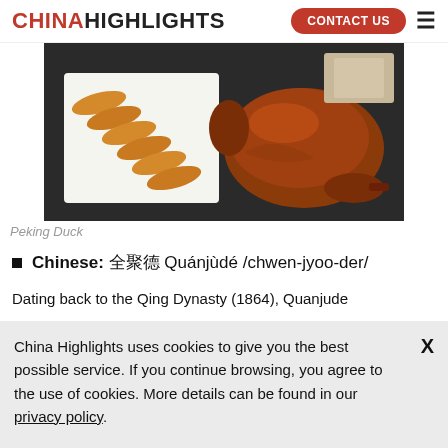CHINAHIGHLIGHTS  CONTACT US
[Figure (photo): Peking Duck — sliced duck arranged on white cutting board beside whole roasted duck on dark tray]
Peking Duck
Chinese: 全聚德 Quánjùdé /chwen-jyoo-der/
Dating back to the Qing Dynasty (1864), Quanjude
China Highlights uses cookies to give you the best possible service. If you continue browsing, you agree to the use of cookies. More details can be found in our privacy policy.